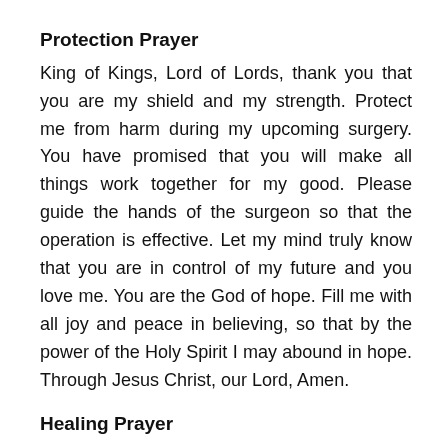Protection Prayer
King of Kings, Lord of Lords, thank you that you are my shield and my strength. Protect me from harm during my upcoming surgery. You have promised that you will make all things work together for my good. Please guide the hands of the surgeon so that the operation is effective. Let my mind truly know that you are in control of my future and you love me. You are the God of hope. Fill me with all joy and peace in believing, so that by the power of the Holy Spirit I may abound in hope. Through Jesus Christ, our Lord, Amen.
Healing Prayer